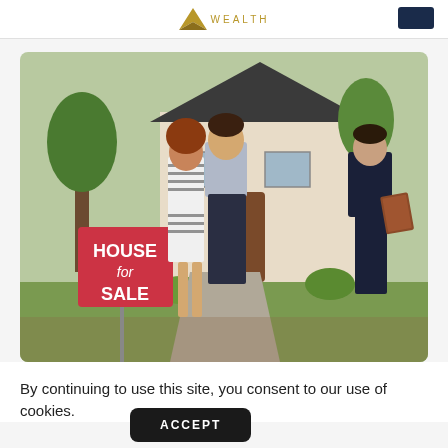WEALTH
[Figure (photo): A couple standing in front of a house for sale with a real estate agent. A pink 'HOUSE for SALE' sign is visible in the garden.]
By continuing to use this site, you consent to our use of cookies.
ACCEPT